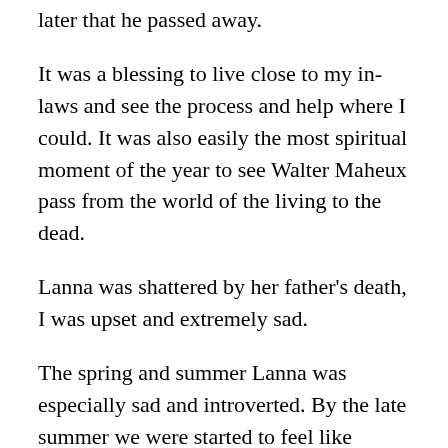for a long time. It was only a couple months later that he passed away.
It was a blessing to live close to my in-laws and see the process and help where I could. It was also easily the most spiritual moment of the year to see Walter Maheux pass from the world of the living to the dead.
Lanna was shattered by her father's death, I was upset and extremely sad.
The spring and summer Lanna was especially sad and introverted. By the late summer we were started to feel like ourselves again. Then my dad's brain cancer returned in late August.